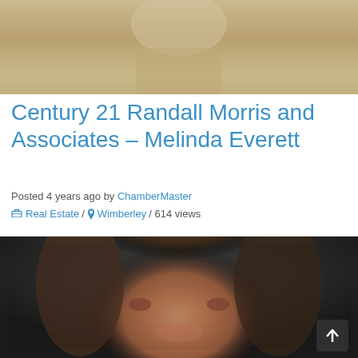[Figure (photo): Partial photo of a person visible at top of page, cropped showing torso in light colored shirt]
Century 21 Randall Morris and Associates – Melinda Everett
Posted 4 years ago by ChamberMaster
Real Estate / Wimberley / 614 views
[Figure (photo): Close-up photo of a woman with brown hair, smiling, on a dark background]